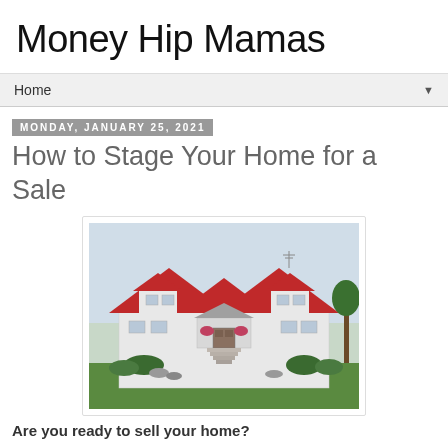Money Hip Mamas
Home
Monday, January 25, 2021
How to Stage Your Home for a Sale
[Figure (photo): White house with red metal roof, multiple gables, front porch with steps, flower boxes, surrounded by green lawn and shrubs]
Are you ready to sell your home?